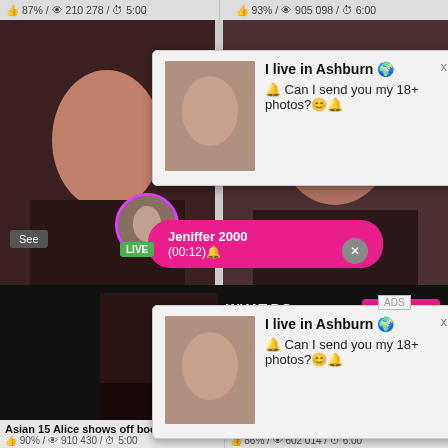87% / 👍 210 278 / ⏱ 5:00
93% / 👍 905 098 / ⏱ 6:00
[Figure (photo): Adult content thumbnail left card]
[Figure (photo): Adult content thumbnail right card]
I live in Ashburn 🌐
🔔 Can I send you my 18+ photos?☺️🔔
x
I live in Ashburn 🌐
🔔 Can I send you my 18+ photos?☺️🔔
x
ADS
Jeniffer 2000
(00:12)🔔
LIVE
Busty
88%
[Figure (photo): Adult content bottom left large photo]
WHAT DO YOU WANT?
WATCH
● Online
[Figure (photo): Three small thumbnails]
Cumming, ass fucking, squirt or...
• ADS
IFun.com
Asian 15 Alice shows off body
Shemale Zoe Fuckpuppet
90% / 👍 910 430 / ⏱ 5:00
86% / 👍 602 014 / ⏱ 6:00